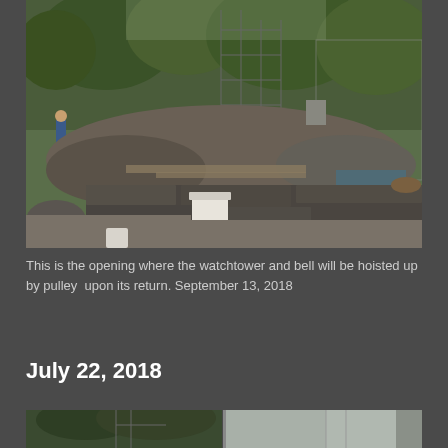[Figure (photo): Construction site photo showing workers in a rocky area with scaffolding structure in background, trees, chain-link fence, rocks, lumber, and a white bucket in the foreground. September 13, 2018.]
This is the opening where the watchtower and bell will be hoisted up by pulley  upon its return. September 13, 2018
July 22, 2018
[Figure (photo): Partial view of another construction site photo, partially cropped at bottom of page.]